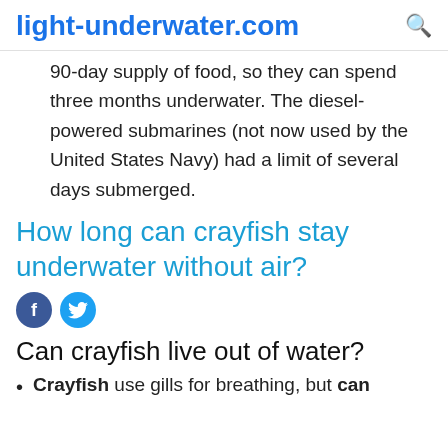light-underwater.com
90-day supply of food, so they can spend three months underwater. The diesel-powered submarines (not now used by the United States Navy) had a limit of several days submerged.
How long can crayfish stay underwater without air?
Can crayfish live out of water?
Crayfish use gills for breathing, but can